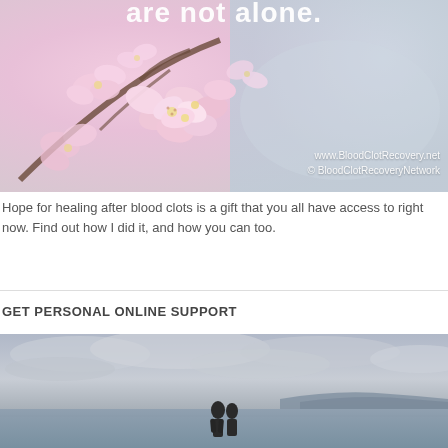[Figure (photo): Close-up of pink cherry blossoms (sakura flowers) with soft pastel background. Watermark text reads 'www.BloodClotRecovery.net © BloodClotRecoveryNetwork' at bottom right.]
Hope for healing after blood clots is a gift that you all have access to right now. Find out how I did it, and how you can too.
GET PERSONAL ONLINE SUPPORT
[Figure (photo): Two silhouetted figures standing at a waterfront with hills or islands in the background under a cloudy sky.]